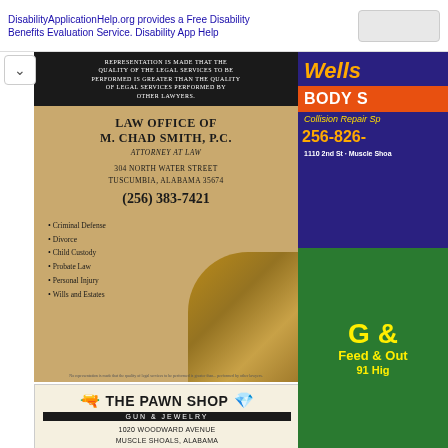DisabilityApplicationHelp.org provides a Free Disability Benefits Evaluation Service. Disability App Help
[Figure (photo): Law Office of M. Chad Smith, P.C. advertisement with gavel image. Attorney at Law, 304 North Water Street, Tuscumbia, Alabama 35674, (256) 383-7421. Services: Criminal Defense, Divorce, Child Custody, Probate Law, Personal Injury, Wills and Estates.]
[Figure (photo): The Pawn Shop Gun & Jewelry advertisement. 1020 Woodward Avenue, Muscle Shoals, Alabama. Mon-Fri 9-5, Sat 8-2. 256-248-4792. CLASS III DEALER. Buy • Sell • Trade, Cash Advance. pawn2us@gmail.com]
[Figure (photo): Wells Body Shop advertisement (partially visible). Collision Repair Sp[ecialist]. 256-826-[xxxx]. 1110 2nd St, Muscle Shoals.]
[Figure (photo): G & [G] Feed & Out[door] advertisement (partially visible). 91 Hig[hway]. Yellow text on green background.]